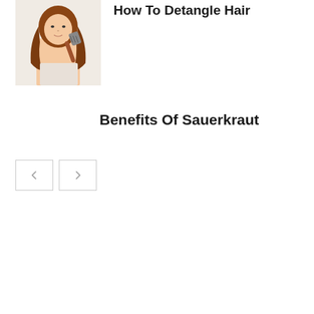[Figure (photo): A woman with long brown hair holding a brush, thumbnail image for 'How To Detangle Hair' article]
How To Detangle Hair
Benefits Of Sauerkraut
[Figure (other): Navigation buttons: left arrow and right arrow for carousel or pagination]